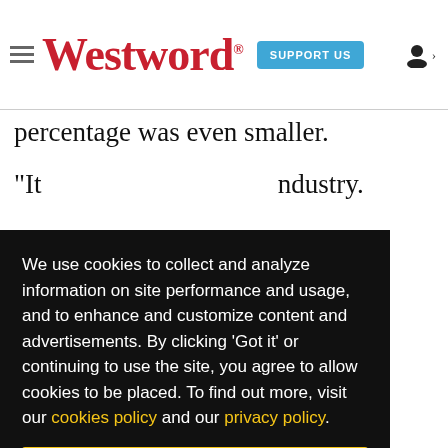Westword — SUPPORT US
percentage was even smaller.
"It... industry.
"We ... see ... give ... ore ... istry."
We use cookies to collect and analyze information on site performance and usage, and to enhance and customize content and advertisements. By clicking 'Got it' or continuing to use the site, you agree to allow cookies to be placed. To find out more, visit our cookies policy and our privacy policy.
Got it!
ans
bello
that